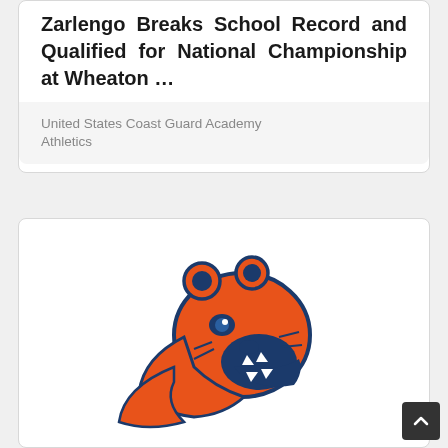Zarlengo Breaks School Record and Qualified for National Championship at Wheaton …
United States Coast Guard Academy Athletics
[Figure (logo): Orange and blue bear mascot logo — roaring bear head facing right, orange with dark blue outlines]
Wednesday, January 02, 2019
Coast Guard Athletic Director to Step Down